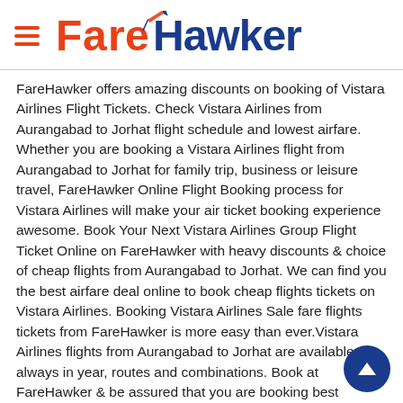FareHawker
FareHawker offers amazing discounts on booking of Vistara Airlines Flight Tickets. Check Vistara Airlines from Aurangabad to Jorhat flight schedule and lowest airfare. Whether you are booking a Vistara Airlines flight from Aurangabad to Jorhat for family trip, business or leisure travel, FareHawker Online Flight Booking process for Vistara Airlines will make your air ticket booking experience awesome. Book Your Next Vistara Airlines Group Flight Ticket Online on FareHawker with heavy discounts & choice of cheap flights from Aurangabad to Jorhat. We can find you the best airfare deal online to book cheap flights tickets on Vistara Airlines. Booking Vistara Airlines Sale fare flights tickets from FareHawker is more easy than ever.Vistara Airlines flights from Aurangabad to Jorhat are available always in year, routes and combinations. Book at FareHawker & be assured that you are booking best airfares across from any other online travel portals.